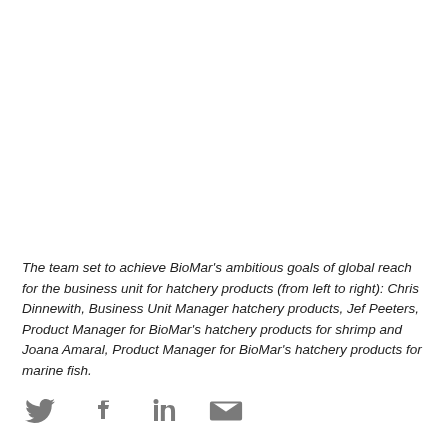The team set to achieve BioMar's ambitious goals of global reach for the business unit for hatchery products (from left to right): Chris Dinnewith, Business Unit Manager hatchery products, Jef Peeters, Product Manager for BioMar's hatchery products for shrimp and Joana Amaral, Product Manager for BioMar's hatchery products for marine fish.